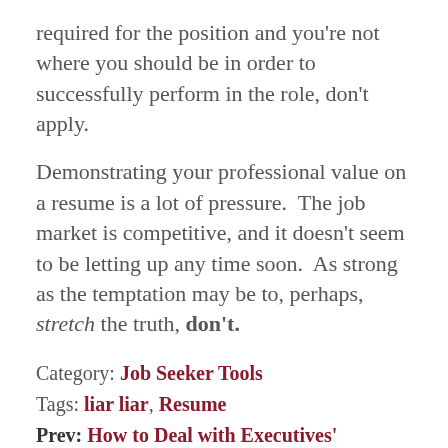required for the position and you're not where you should be in order to successfully perform in the role, don't apply.
Demonstrating your professional value on a resume is a lot of pressure.  The job market is competitive, and it doesn't seem to be letting up any time soon.  As strong as the temptation may be to, perhaps, stretch the truth, don't.
Category: Job Seeker Tools
Tags: liar liar, Resume
Prev: How to Deal with Executives' Personalities
Next: Why You Didn't Even Get an Interview